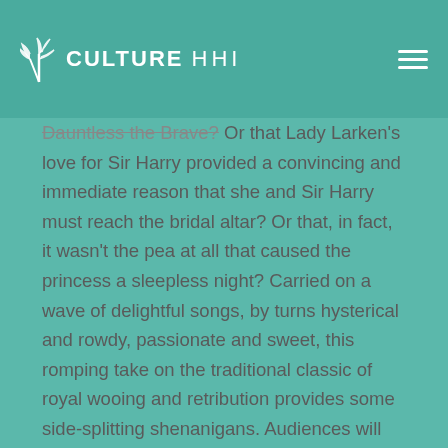Culture HHI
Dauntless the Brave? Or that Lady Larken's love for Sir Harry provided a convincing and immediate reason that she and Sir Harry must reach the bridal altar? Or that, in fact, it wasn't the pea at all that caused the princess a sleepless night? Carried on a wave of delightful songs, by turns hysterical and rowdy, passionate and sweet, this romping take on the traditional classic of royal wooing and retribution provides some side-splitting shenanigans. Audiences will never look at fairy tales quite the same way again.
Under the artistic direction of Kimberly Guinn, Theater Company Director, the musical direction of Josh Wall and